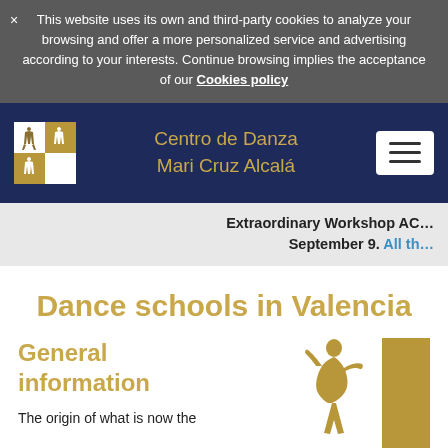× This website uses its own and third-party cookies to analyze your browsing and offer a more personalized service and advertising according to your interests. Continue browsing implies the acceptance of our Cookies policy
Centro de Danza Mari Cruz Alcalá
Extraordinary Workshop AC… September 9. All th…
Dance schools in Valencia
General information
The origin of what is now the